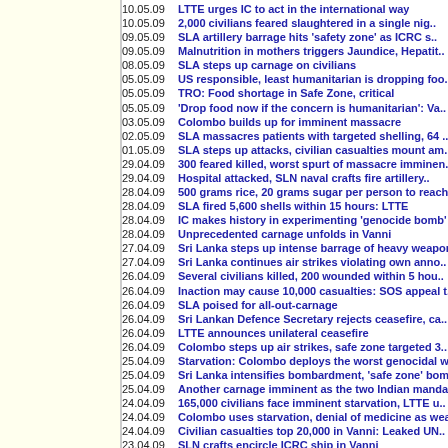10.05.09 LTTE urges IC to act in the international way
10.05.09 2,000 civilians feared slaughtered in a single nig..
09.05.09 SLA artillery barrage hits 'safety zone' as ICRC s..
09.05.09 Malnutrition in mothers triggers Jaundice, Hepatit..
08.05.09 SLA steps up carnage on civilians
05.05.09 US responsible, least humanitarian is dropping foo..
05.05.09 TRO: Food shortage in Safe Zone, critical
05.05.09 'Drop food now if the concern is humanitarian': Va..
03.05.09 Colombo builds up for imminent massacre
02.05.09 SLA massacres patients with targeted shelling, 64 ..
01.05.09 SLA steps up attacks, civilian casualties mount am..
29.04.09 300 feared killed, worst spurt of massacre imminen..
29.04.09 Hospital attacked, SLN naval crafts fire artillery..
28.04.09 500 grams rice, 20 grams sugar per person to reach..
28.04.09 SLA fired 5,600 shells within 15 hours: LTTE
28.04.09 IC makes history in experimenting 'genocide bomb'
28.04.09 Unprecedented carnage unfolds in Vanni
27.04.09 Sri Lanka steps up intense barrage of heavy weapon..
27.04.09 Sri Lanka continues air strikes violating own anno..
26.04.09 Several civilians killed, 200 wounded within 5 hou..
26.04.09 Inaction may cause 10,000 casualties: SOS appeal t..
26.04.09 SLA poised for all-out-carnage
26.04.09 Sri Lankan Defence Secretary rejects ceasefire, ca..
26.04.09 LTTE announces unilateral ceasefire
26.04.09 Colombo steps up air strikes, safe zone targeted 3..
25.04.09 Starvation: Colombo deploys the worst genocidal we..
25.04.09 Sri Lanka intensifies bombardment, 'safe zone' bom..
25.04.09 Another carnage imminent as the two Indian mandari..
24.04.09 165,000 civilians face imminent starvation, LTTE u..
24.04.09 Colombo uses starvation, denial of medicine as wea..
24.04.09 Civilian casualties top 20,000 in Vanni: Leaked UN..
23.04.09 SLN crafts encircle ICRC ship in Vanni
23.04.09 SLA shelling on church kills 14, Caritas-HUDEC Van..
22.04.09 SLA fire hampers ICRC evacuation of seriously woun..
22.04.09 SLA shells Church in Valaignarmadam, Fr. James Pat..
21.04.09 SLA cluster bombs kill doctor, medical staff at Va..
21.04.09 'SLA advances behind human shield, act fast to res..
20.04.09 Nadesan denies reports of human bomb, blames Colo..